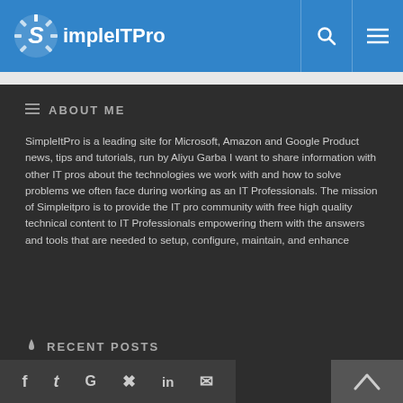SimpleITPro
ABOUT ME
SimpleItPro is a leading site for Microsoft, Amazon and Google Product news, tips and tutorials, run by Aliyu Garba I want to share information with other IT pros about the technologies we work with and how to solve problems we often face during working as an IT Professionals. The mission of Simpleitpro is to provide the IT pro community with free high quality technical content to IT Professionals empowering them with the answers and tools that are needed to setup, configure, maintain, and enhance
RECENT POSTS
Social share icons: Facebook, Twitter, Google, Pinterest, LinkedIn, Email